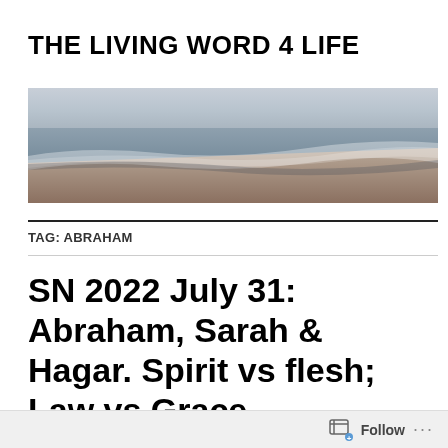THE LIVING WORD 4 LIFE
[Figure (photo): Coastal beach scene with ocean waves washing onto sandy shore, muted tones of blue, grey and brown]
TAG: ABRAHAM
SN 2022 July 31: Abraham, Sarah & Hagar. Spirit vs flesh; Law vs Grace.
Follow ...